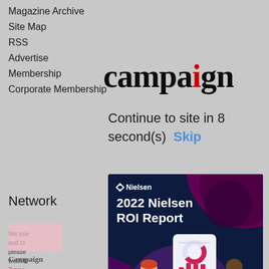Magazine Archive
Site Map
RSS
Advertise
Membership
Corporate Membership
[Figure (logo): Campaign magazine logo with red dot over the letter i]
Continue to site in 8 second(s)  Skip
Network
We use... and to... please... website...
[Figure (infographic): Nielsen 2022 ROI Report advertisement banner with dark navy background, decorative purple circles, illustration of two people with a large smartphone showing analytics charts, and a red Download now button at the bottom]
Campaign